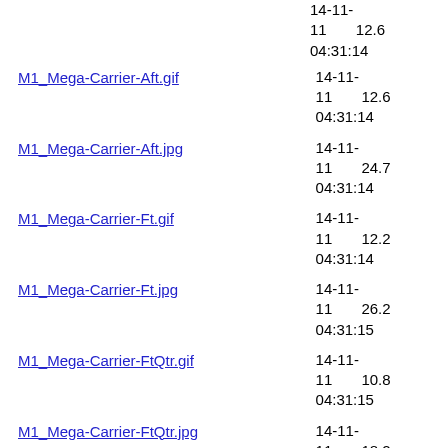14-11- 11 12.6 04:31:14
M1_Mega-Carrier-Aft.gif
M1_Mega-Carrier-Aft.jpg
M1_Mega-Carrier-Ft.gif
M1_Mega-Carrier-Ft.jpg
M1_Mega-Carrier-FtQtr.gif
M1_Mega-Carrier-FtQtr.jpg
M1_Mega-Carrier-bot.gif
M1_Mega-Carrier-bot.jpg